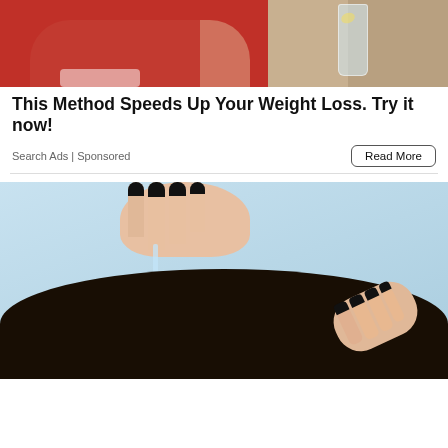[Figure (photo): Person in red sweater holding a glass drink with lemon slice, room/couch visible in background]
This Method Speeds Up Your Weight Loss. Try it now!
Search Ads | Sponsored
Read More
[Figure (photo): Woman with dark hair applying serum or oil to her scalp with a dropper, light blue background, dark painted fingernails]